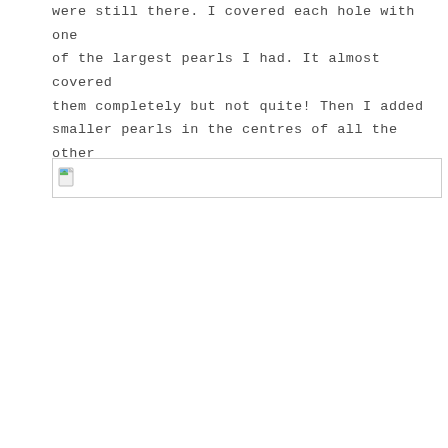were still there. I covered each hole with one of the largest pearls I had. It almost covered them completely but not quite! Then I added smaller pearls in the centres of all the other flowers.
[Figure (photo): A broken/missing image placeholder shown as a small icon with a white and gray document icon with a green and blue landscape thumbnail in the top-left corner, inside a thin gray-bordered rectangle.]